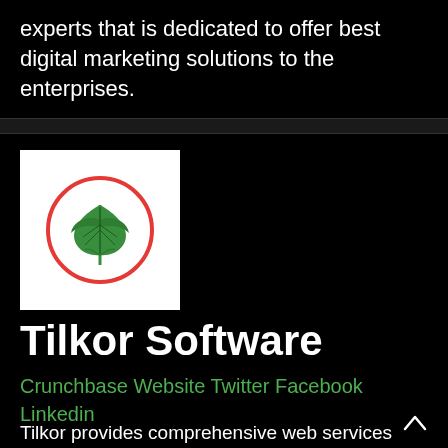experts that is dedicated to offer best digital marketing solutions to the enterprises.
[Figure (logo): Tilkor Software logo: a green ivy leaf inside a red circle on a white background]
Tilkor Software
Crunchbase Website Twitter Facebook Linkedin
Tilkor provides comprehensive web services ranging from customizing web design to